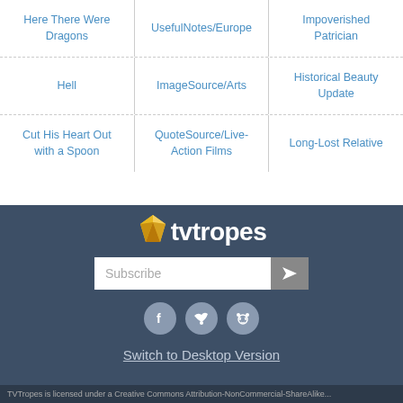| Here There Were Dragons | UsefulNotes/Europe | Impoverished Patrician |
| Hell | ImageSource/Arts | Historical Beauty Update |
| Cut His Heart Out with a Spoon | QuoteSource/Live-Action Films | Long-Lost Relative |
[Figure (logo): TV Tropes logo with yellow diamond gem and white text tvitropes on dark blue background]
Subscribe
[Figure (infographic): Social media icons: Facebook, Twitter, Reddit in grey circles]
Switch to Desktop Version
TVTropes is licensed under a Creative Commons Attribution-NonCommercial-ShareAlike...